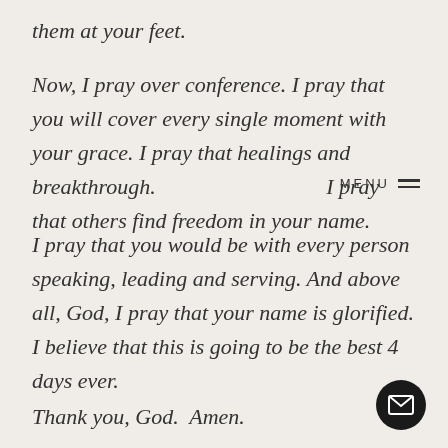them at your feet.
Now, I pray over conference. I pray that you will cover every single moment with your grace. I pray that healings and breakthrough. I pray that others find freedom in your name.
I pray that you would be with every person speaking, leading and serving. And above all, God, I pray that your name is glorified. I believe that this is going to be the best 4 days ever.
Thank you, God.  Amen.